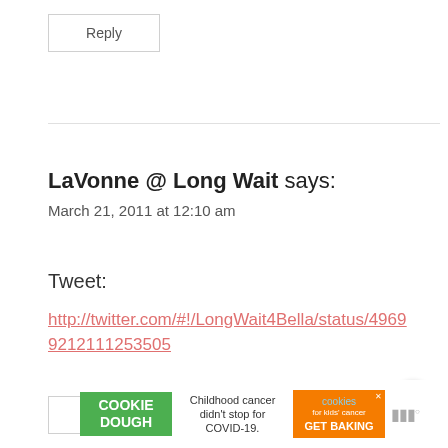Reply
LaVonne @ Long Wait says:
March 21, 2011 at 12:10 am
Tweet:
http://twitter.com/#!/LongWait4Bella/status/49699212111253505
Reply
[Figure (other): Share button icon (circular with share symbol)]
[Figure (other): What's Next panel showing Rustic Wood Slice... thumbnail]
[Figure (other): Cookie Dough advertisement banner for cookies for kids cancer, Childhood cancer didn't stop for COVID-19. GET BAKING]